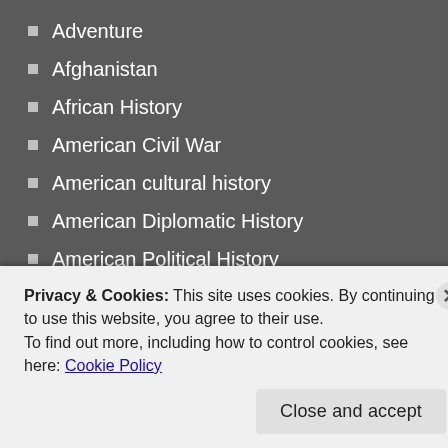Adventure
Afghanistan
African History
American Civil War
American cultural history
American Diplomatic History
American Political History
American Revolution
American Social History
Arab-Israeli Conflict
Art History
Balkans
baseball
Biography
British History
Business
Privacy & Cookies: This site uses cookies. By continuing to use this website, you agree to their use.
To find out more, including how to control cookies, see here: Cookie Policy
Close and accept